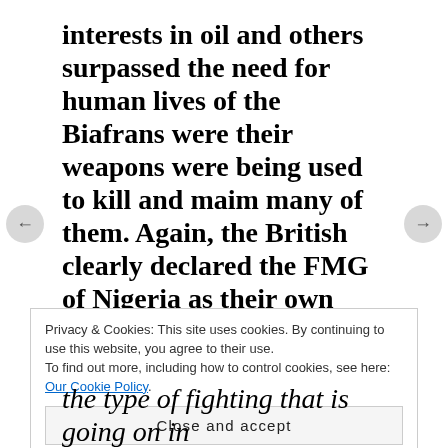interests in oil and others surpassed the need for human lives of the Biafrans were their weapons were being used to kill and maim many of them. Again, the British clearly declared the FMG of Nigeria as their own side and did everything to support them to win the war, in order to protect British commercial interest in Nigeria.
Privacy & Cookies: This site uses cookies. By continuing to use this website, you agree to their use. To find out more, including how to control cookies, see here: Our Cookie Policy
Close and accept
the type of fighting that is going on in